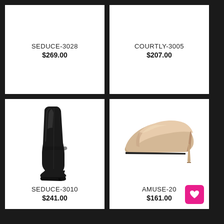SEDUCE-3028
$269.00
COURTLY-3005
$207.00
[Figure (photo): Black patent leather over-the-knee stiletto boot (SEDUCE-3010)]
SEDUCE-3010
$241.00
[Figure (photo): Nude/beige patent leather pointed-toe stiletto pump (AMUSE-20)]
AMUSE-20
$161.00